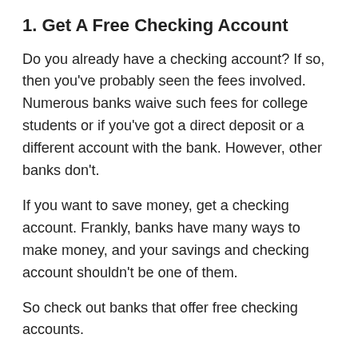1. Get A Free Checking Account
Do you already have a checking account? If so, then you've probably seen the fees involved. Numerous banks waive such fees for college students or if you've got a direct deposit or a different account with the bank. However, other banks don't.
If you want to save money, get a checking account. Frankly, banks have many ways to make money, and your savings and checking account shouldn't be one of them.
So check out banks that offer free checking accounts.
2. Get A Job In College
If saving is a priority for you, you must get a job because